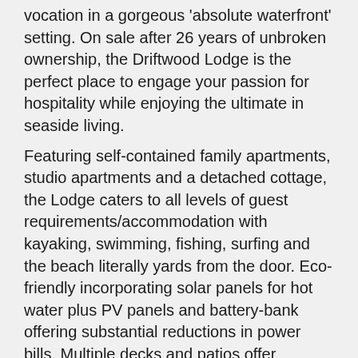vocation in a gorgeous 'absolute waterfront' setting. On sale after 26 years of unbroken ownership, the Driftwood Lodge is the perfect place to engage your passion for hospitality while enjoying the ultimate in seaside living.
Featuring self-contained family apartments, studio apartments and a detached cottage, the Lodge caters to all levels of guest requirements/accommodation with kayaking, swimming, fishing, surfing and the beach literally yards from the door. Eco-friendly incorporating solar panels for hot water plus PV panels and battery-bank offering substantial reductions in power bills. Multiple decks and patios offer exceptional outdoor living venues set off to perfection by picture-postcard sunsets.
Enjoying a strong on-line presence with rave reviews and strong forward bookings with July alone experiencing a 300% increase from this time last year. Just an hour north of the Bay of Islands, the Lodge is